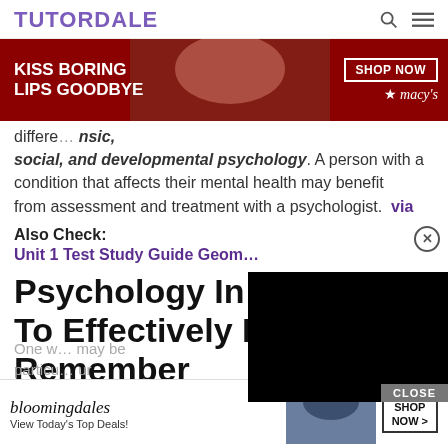TUTORDALE
[Figure (photo): Macy's advertisement banner: 'KISS BORING LIPS GOODBYE' with woman's face and red lips, SHOP NOW button and Macy's star logo]
different … forensic, social, and developmental psychology. A person with a condition that affects their mental health may benefit from assessment and treatment with a psychologist. via
Also Check:
Unit 1 Test Study Guide Geom…
[Figure (screenshot): Black video overlay rectangle with CLOSE button]
Psychology In Eve… To Effectively Learn And Remember
[Figure (photo): Bloomingdale's advertisement: 'View Today's Top Deals!' with woman in hat and SHOP NOW button]
One w… may be particu… ur